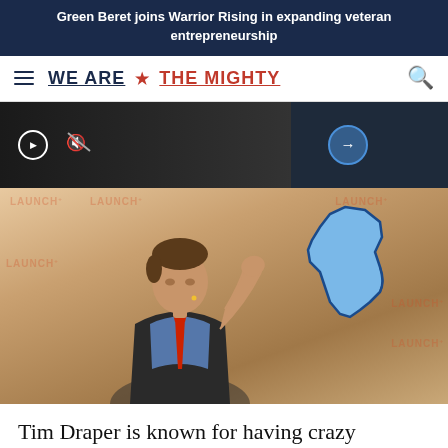Green Beret joins Warrior Rising in expanding veteran entrepreneurship
[Figure (logo): We Are The Mighty logo with hamburger menu and search icon]
[Figure (screenshot): Video strip with play button, mute icon, and arrow navigation]
[Figure (photo): Tim Draper holding up a California state map graphic at a LAUNCH conference event]
Tim Draper is known for having crazy